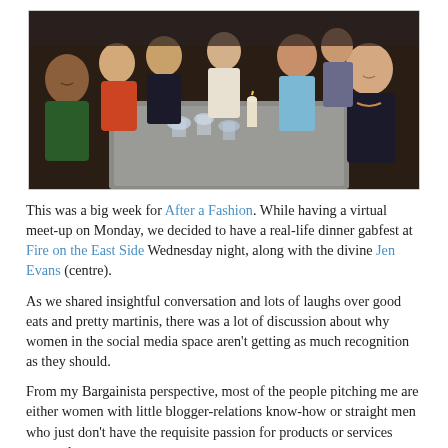[Figure (photo): Group of women seated around a long table at a restaurant dinner, smiling at the camera. There are glasses, candles, and place settings on the table.]
This was a big week for After a Fashion. While having a virtual meet-up on Monday, we decided to have a real-life dinner gabfest at Fire on the East Side Wednesday night, along with the divine Jen Evans (centre).
As we shared insightful conversation and lots of laughs over good eats and pretty martinis, there was a lot of discussion about why women in the social media space aren't getting as much recognition as they should.
From my Bargainista perspective, most of the people pitching me are either women with little blogger-relations know-how or straight men who just don't have the requisite passion for products or services targeted to women.